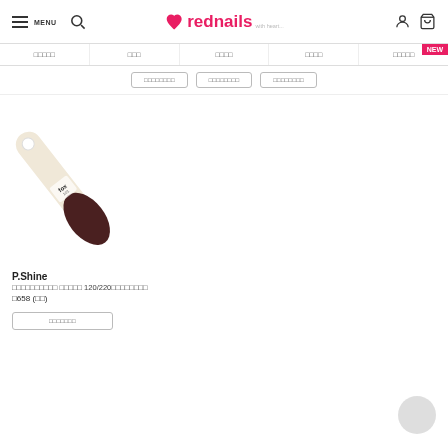rednails — MENU, search, account, cart icons
□□□□□   □□□   □□□□   □□□□   □□□□□
□□□□□□□□   □□□□□□□□   □□□□□□□□
[Figure (photo): A foot file/callus remover tool with cream-colored wooden paddle handle and dark brown abrasive oval pad. Brand label reads 'fox' on the handle.]
P.Shine
□□□□□□□□□□ □□□□□ 120/220□□□□□□□□
□658 (□□)
□□□□□□□